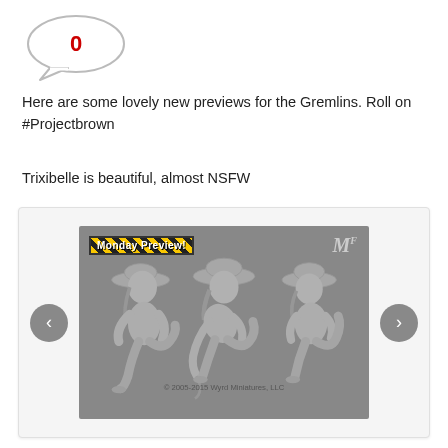[Figure (illustration): Speech bubble / comment icon with the number 0 in red inside]
Here are some lovely new previews for the Gremlins. Roll on #Projectbrown
Trixibelle is beautiful, almost NSFW
[Figure (photo): Carousel showing three gray miniature figurines of a female character in cowboy hat and boots in different poses, labeled 'Monday Preview!' with Wyrd Miniatures logo. Copyright 2005-2015 Wyrd Miniatures, LLC.]